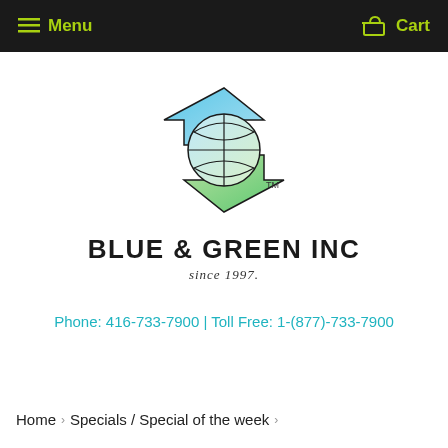Menu   Cart
[Figure (logo): Blue & Green Inc logo: two opposing arrows (blue left-pointing, green right-pointing) with a globe/lens design in the center, with TM mark]
BLUE & GREEN INC
since 1997.
Phone: 416-733-7900 | Toll Free: 1-(877)-733-7900
Home › Specials / Special of the week ›